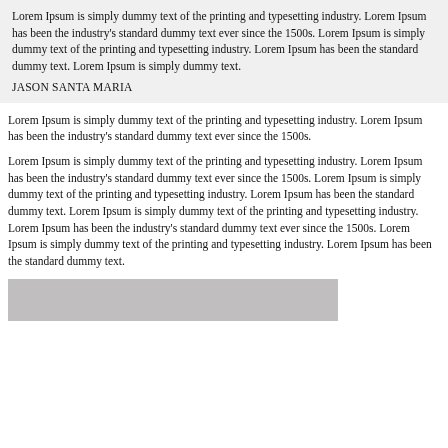Lorem Ipsum is simply dummy text of the printing and typesetting industry. Lorem Ipsum has been the industry's standard dummy text ever since the 1500s. Lorem Ipsum is simply dummy text of the printing and typesetting industry. Lorem Ipsum has been the standard dummy text. Lorem Ipsum is simply dummy text.
JASON SANTA MARIA
Lorem Ipsum is simply dummy text of the printing and typesetting industry. Lorem Ipsum has been the industry's standard dummy text ever since the 1500s.
Lorem Ipsum is simply dummy text of the printing and typesetting industry. Lorem Ipsum has been the industry's standard dummy text ever since the 1500s. Lorem Ipsum is simply dummy text of the printing and typesetting industry. Lorem Ipsum has been the standard dummy text. Lorem Ipsum is simply dummy text of the printing and typesetting industry. Lorem Ipsum has been the industry's standard dummy text ever since the 1500s. Lorem Ipsum is simply dummy text of the printing and typesetting industry. Lorem Ipsum has been the standard dummy text.
[Figure (other): Gray rectangular image placeholder at the bottom of the page]